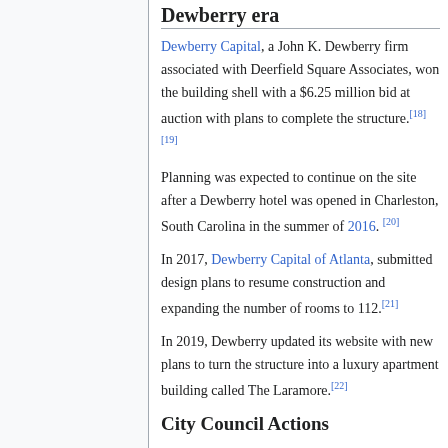Dewberry era
Dewberry Capital, a John K. Dewberry firm associated with Deerfield Square Associates, won the building shell with a $6.25 million bid at auction with plans to complete the structure.[18][19]
Planning was expected to continue on the site after a Dewberry hotel was opened in Charleston, South Carolina in the summer of 2016.[20]
In 2017, Dewberry Capital of Atlanta, submitted design plans to resume construction and expanding the number of rooms to 112.[21]
In 2019, Dewberry updated its website with new plans to turn the structure into a luxury apartment building called The Laramore.[22]
City Council Actions